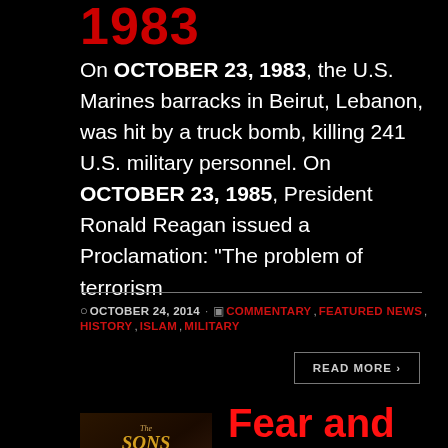1983
On OCTOBER 23, 1983, the U.S. Marines barracks in Beirut, Lebanon, was hit by a truck bomb, killing 241 U.S. military personnel. On OCTOBER 23, 1985, President Ronald Reagan issued a Proclamation: “The problem of terrorism
OCTOBER 24, 2014 · COMMENTARY, FEATURED NEWS, HISTORY, ISLAM, MILITARY
READ MORE ›
[Figure (illustration): Book cover for 'The Sons of Liberty']
Fear and Self